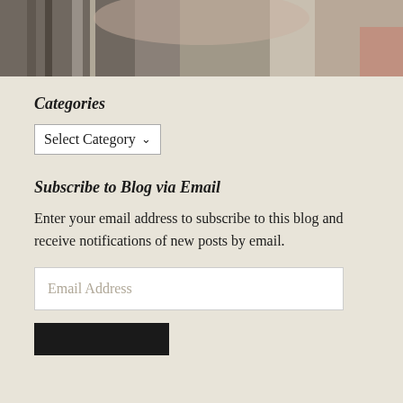[Figure (photo): Cropped photo showing a woman with long brown hair against a light background, partially visible at the top of the page]
Categories
Select Category
Subscribe to Blog via Email
Enter your email address to subscribe to this blog and receive notifications of new posts by email.
Email Address